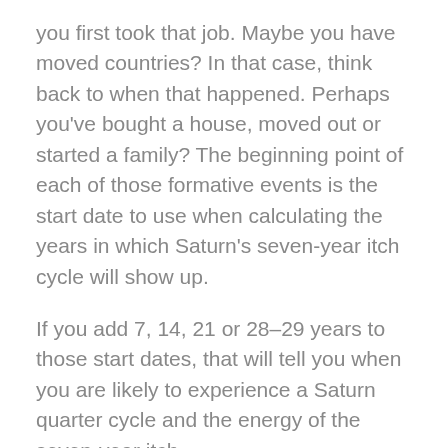you first took that job. Maybe you have moved countries? In that case, think back to when that happened. Perhaps you've bought a house, moved out or started a family? The beginning point of each of those formative events is the start date to use when calculating the years in which Saturn's seven-year itch cycle will show up.
If you add 7, 14, 21 or 28–29 years to those start dates, that will tell you when you are likely to experience a Saturn quarter cycle and the energy of the seven-year itch.
Your seven-year itch by sign
In addition to the simple seven-year quarter cycle of Saturn, you may also like to track the influence of Saturn according to your sun or moon sign.